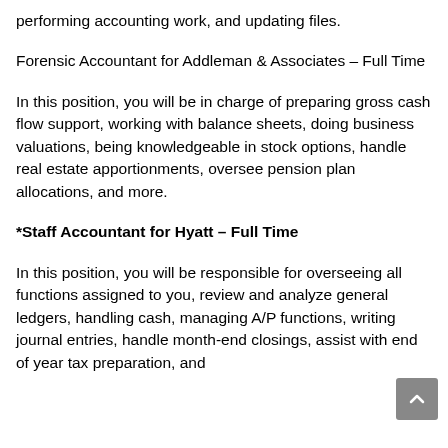performing accounting work, and updating files.
Forensic Accountant for Addleman & Associates – Full Time
In this position, you will be in charge of preparing gross cash flow support, working with balance sheets, doing business valuations, being knowledgeable in stock options, handle real estate apportionments, oversee pension plan allocations, and more.
*Staff Accountant for Hyatt – Full Time
In this position, you will be responsible for overseeing all functions assigned to you, review and analyze general ledgers, handling cash, managing A/P functions, writing journal entries, handle month-end closings, assist with end of year tax preparation, and